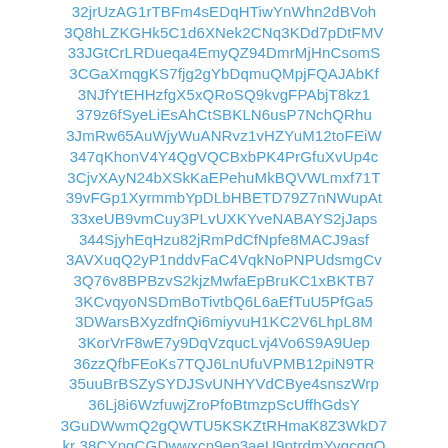32jrUzAG1rTBFm4sEDqHTiwYnWhn2dBVoh
3Q8hLZKGHk5C1d6XNek2CNq3KDd7pDtFMV
33JGtCrLRDueqa4EmyQZ94DmrMjHnCsomS
3CGaXmqgKS7fjg2gYbDqmuQMpjFQAJAbKf
3NJfYtEHHzfgX5xQRoSQ9kvgFPAbjT8kz1
379z6fSyeLiEsAhCtSBKLN6usP7NchQRhu
3JmRw65AuWjyWuANRvz1vHZYuM12toFEiW
347qKhonV4Y4QgVQCBxbPK4PrGfuXvUp4c
3CjvXAyN24bXSkKaEPehuMkBQVWLmxf71T
39vFGp1XyrmmbYpDLbHBETD79Z7nNWupAt
33xeUB9vmCuy3PLvUXKYveNABAYS2jJaps
344SjyhEqHzu82jRmPdCfNpfe8MACJ9asf
3AVXuqQ2yP1nddvFaC4VqkNoPNPUdsmgCv
3Q76v8BPBzvS2kjzMwfaEpBruKC1xBKTB7
3KCvqyoNSDmBoTivtbQ6L6aEfTuU5PfGa5
3DWarsBXyzdfnQi6miyvuH1KC2V6LhpL8M
3KorVrF8wE7y9DqVzqucLvj4Vo6S9A9Uep
36zzQfbFEoKs7TQJ6LnUfuVPMB12piN9TR
35uuBrBSZySYDJSvUNHYVdCBye4snszWrp
36Lj8i6WzfuwjZroPfoBtmzpScUffhGdsY
3GuDWwmQ2gQWTU5KSKZtRHmaK8Z3WkD7
kr 38CYngCGDwwxcn9ep3aeU9ptrdmYvgcqgQ